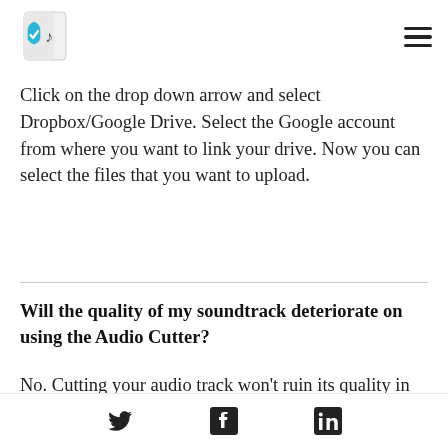Audio Cutter app logo and hamburger menu
Click on the drop down arrow and select Dropbox/Google Drive. Select the Google account from where you want to link your drive. Now you can select the files that you want to upload.
Will the quality of my soundtrack deteriorate on using the Audio Cutter?
No. Cutting your audio track won't ruin its quality in any way. This is one of the best features of our online Audio Cutter tool. We can guarantee that the quality stays the same.
Twitter, Facebook, LinkedIn social icons